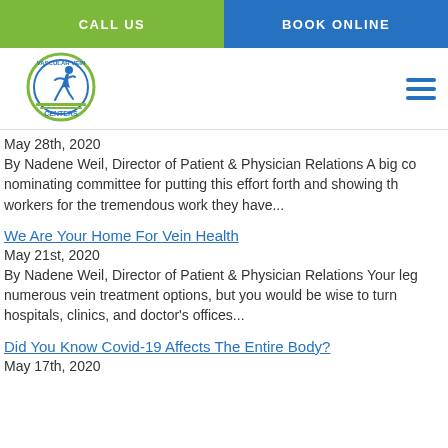CALL US | BOOK ONLINE
[Figure (logo): Vascular Vein Centers logo with running figure]
May 28th, 2020
By Nadene Weil, Director of Patient & Physician Relations A big co nominating committee for putting this effort forth and showing th workers for the tremendous work they have...
We Are Your Home For Vein Health
May 21st, 2020
By Nadene Weil, Director of Patient & Physician Relations Your leg numerous vein treatment options, but you would be wise to turn hospitals, clinics, and doctor's offices...
Did You Know Covid-19 Affects The Entire Body?
May 17th, 2020